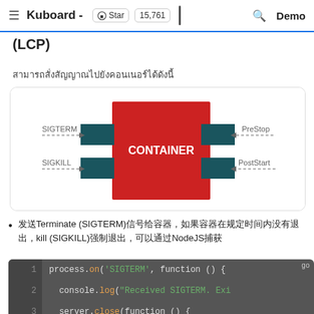≡  Kuboard -  ⭐ Star  15,761  🔍  Demo
(LCP)
████████████████████████████████████████
[Figure (schematic): Container lifecycle diagram showing CONTAINER box in red, with SIGTERM and SIGKILL signals entering from the left via dashed arrows through dark teal blocks, and PreStop and PostStart hooks entering from the right via dashed arrows through dark teal blocks.]
发送Terminate (SIGTERM)信号给容器，如果容器在规定时间内没有退出，kill (SIGKILL)强制退出，可以通过NodeJS捕获
[Figure (screenshot): Code block showing NodeJS SIGTERM handler: process.on('SIGTERM', function () { console.log("Received SIGTERM. Exi..."); server.close(function () { process.exit(0); with a 'go' badge in top right corner.]